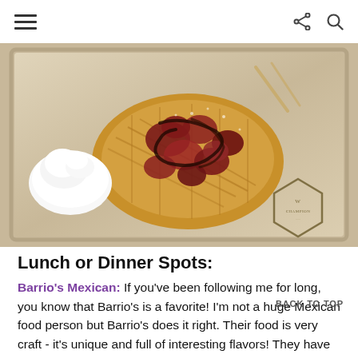☰  [share icon]  [search icon]
[Figure (photo): Overhead photo of a waffle topped with red fruit and chocolate sauce, with whipped cream on the side, served on a metal tray with a Champion brand logo stamp]
Lunch or Dinner Spots:
Barrio's Mexican: If you've been following me for long, you know that Barrio's is a favorite! I'm not a huge Mexican food person but Barrio's does it right. Their food is very craft - it's unique and full of interesting flavors! They have th absolutely delicious cocktails, and the best green always order the Roasted Chicken Enchiladas, the Mexican Street